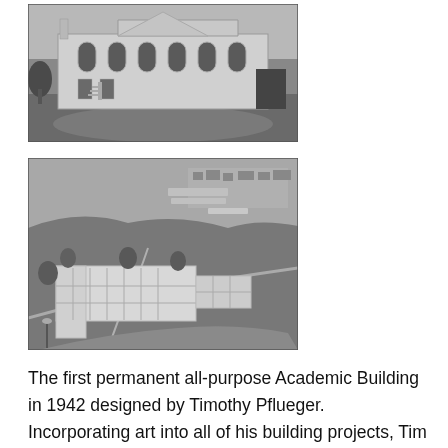[Figure (photo): Black and white historical photograph of the first permanent academic building, showing a classical-style two-story structure with arched windows and a triangular pediment.]
[Figure (photo): Black and white aerial photograph showing a large multi-story academic building complex surrounded by open land and some trees, taken around 1942.]
The first permanent all-purpose Academic Building in 1942 designed by Timothy Pflueger. Incorporating art into all of his building projects, Tim obtained federal and private